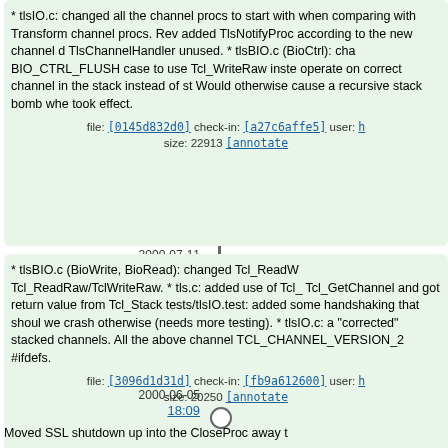01:54
* tlsIO.c: changed all the channel procs to start with when comparing with Transform channel procs. Rev added TlsNotifyProc according to the new channel d TlsChannelHandler unused. * tlsBIO.c (BioCtrl): cha BIO_CTRL_FLUSH case to use Tcl_WriteRaw inste operate on correct channel in the stack instead of st Would otherwise cause a recursive stack bomb whe took effect.
file: [0145d832d0] check-in: [a27c6affe5] user: h size: 22913 [annotate
2000-07-11
04:58
* tlsBIO.c (BioWrite, BioRead): changed Tcl_ReadW Tcl_ReadRaw/TclWriteRaw. * tls.c: added use of Tcl Tcl_GetChannel and got return value from Tcl_Stack tests/tlsIO.test: added some handshaking that shoul we crash otherwise (needs more testing). * tlsIO.c: a "corrected" stacked channels. All the above channel TCL_CHANNEL_VERSION_2 #ifdefs.
file: [3096d1d31d] check-in: [fb9a612600] user: h size: 20250 [annotate
2000-06-05
18:09
Moved SSL shutdown up into the CloseProc away t